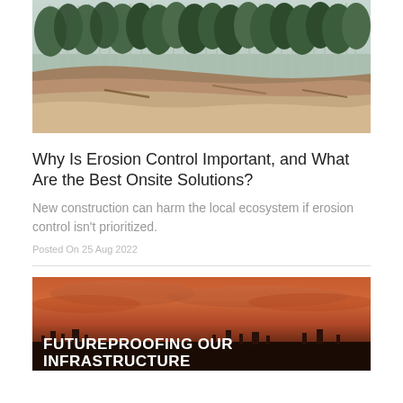[Figure (photo): Forest hillside with exposed eroded soil at the base; tall conifer trees on slope with misty atmosphere]
Why Is Erosion Control Important, and What Are the Best Onsite Solutions?
New construction can harm the local ecosystem if erosion control isn't prioritized.
Posted On 25 Aug 2022
[Figure (photo): Aerial landscape with dramatic orange-red sunset sky over dark terrain. Text overlay reads: FUTUREPROOFING OUR INFRASTRUCTURE]